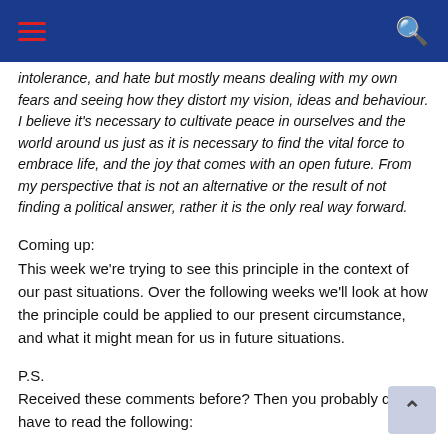intolerance, and hate but mostly means dealing with my own fears and seeing how they distort my vision, ideas and behaviour. I believe it's necessary to cultivate peace in ourselves and the world around us just as it is necessary to find the vital force to embrace life, and the joy that comes with an open future. From my perspective that is not an alternative or the result of not finding a political answer, rather it is the only real way forward.
Coming up:
This week we're trying to see this principle in the context of our past situations. Over the following weeks we'll look at how the principle could be applied to our present circumstance, and what it might mean for us in future situations.
P.S.
Received these comments before? Then you probably don't have to read the following: